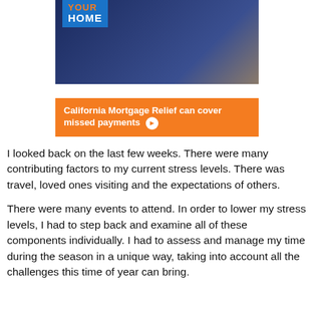[Figure (illustration): Advertisement banner for California Mortgage Relief. Top portion shows a blue badge with 'YOUR HOME' text (YOUR in orange, HOME in white on blue background) overlaid on a photo of a middle-aged man. Below is an orange band with white bold text: 'California Mortgage Relief can cover missed payments' with a white circle arrow icon.]
I looked back on the last few weeks. There were many contributing factors to my current stress levels. There was travel, loved ones visiting and the expectations of others.
There were many events to attend. In order to lower my stress levels, I had to step back and examine all of these components individually. I had to assess and manage my time during the season in a unique way, taking into account all the challenges this time of year can bring.